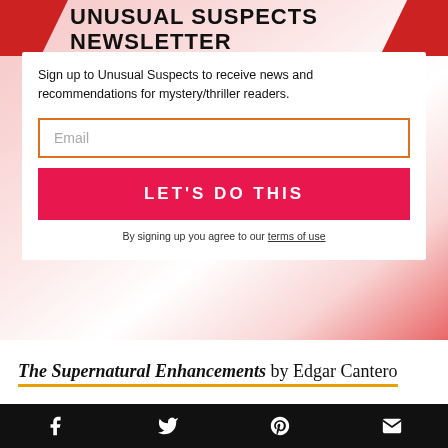UNUSUAL SUSPECTS NEWSLETTER
Sign up to Unusual Suspects to receive news and recommendations for mystery/thriller readers.
Email
LET'S DO THIS
By signing up you agree to our terms of use
The Supernatural Enhancements by Edgar Cantero
[Figure (other): Social media icons footer bar: Facebook, Twitter, Pinterest, Email icons in white on black background]